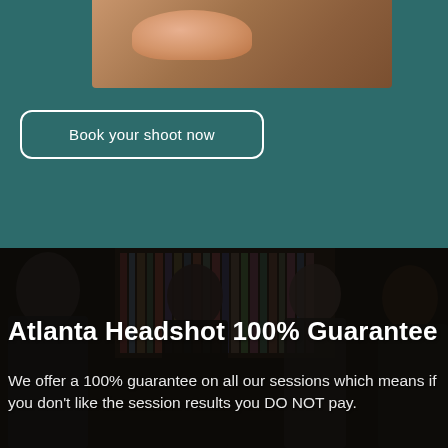[Figure (photo): Partial close-up photograph of a person's shoulder/neck area with warm skin tones, shown at the top of the teal/dark green background section]
Book your shoot now
[Figure (photo): Group professional headshot photo of four people in business attire in front of a bookshelf, partially darkened overlay. Text overlay reads 'Atlanta Headshot 100% Guarantee' and 'We offer a 100% guarantee on all our sessions which means if you don't like the session results you DO NOT pay.']
Atlanta Headshot 100% Guarantee
We offer a 100% guarantee on all our sessions which means if you don't like the session results you DO NOT pay.